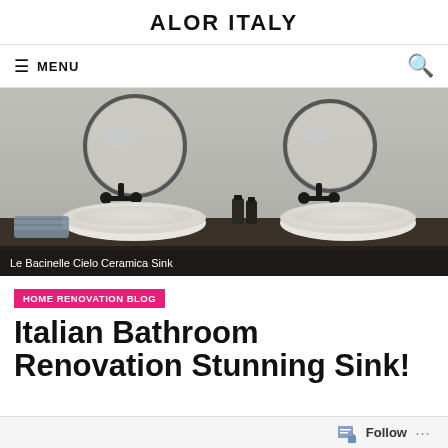ALOR ITALY
MENU
[Figure (photo): Luxury Italian bathroom with two white oval vessel sinks on a dark wood vanity, round mirrors above, black wall-mounted faucets, with folded towel and soap dispensers between sinks. Caption overlay: 'Le Bacinelle Cielo Ceramica Sink']
Le Bacinelle Cielo Ceramica Sink
HOME RENOVATION BLOG
Italian Bathroom Renovation Stunning Sink!